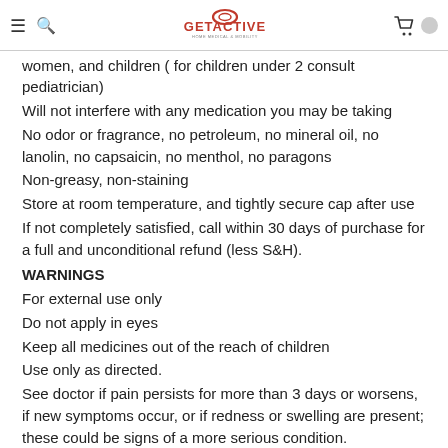GetActive Home Medical & Mobility
women, and children ( for children under 2 consult pediatrician)
Will not interfere with any medication you may be taking
No odor or fragrance, no petroleum, no mineral oil, no lanolin, no capsaicin, no menthol, no paragons
Non-greasy, non-staining
Store at room temperature, and tightly secure cap after use
If not completely satisfied, call within 30 days of purchase for a full and unconditional refund (less S&H).
WARNINGS
For external use only
Do not apply in eyes
Keep all medicines out of the reach of children
Use only as directed.
See doctor if pain persists for more than 3 days or worsens, if new symptoms occur, or if redness or swelling are present; these could be signs of a more serious condition.